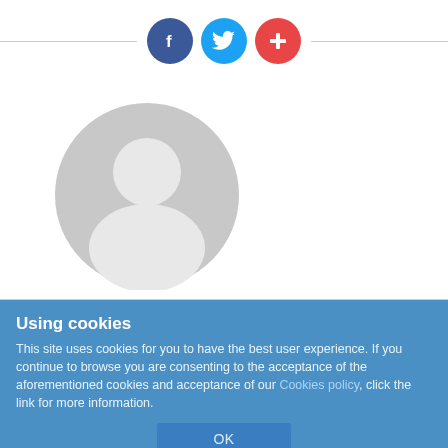[Figure (other): Social media share icons: Facebook (blue circle with f), Twitter (light blue circle with bird), and a red/orange circle with plus sign, arranged in a horizontal bar with lines extending to both sides]
[Figure (other): Generic user avatar - grey circular silhouette of a person (head and shoulders) on white background]
Apartamentos Inter
Using cookies
This site uses cookies for you to have the best user experience. If you continue to browse you are consenting to the acceptance of the aforementioned cookies and acceptance of our Cookies policy, click the link for more information.
OK